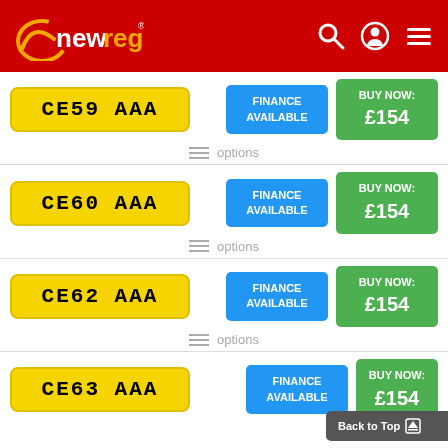newreg
[Figure (screenshot): newreg website listing of private number plates CE59 AAA, CE60 AAA, CE62 AAA, CE63 AAA each priced at £154 with Finance Available and Buy Now buttons]
CE59 AAA — FINANCE AVAILABLE — BUY NOW: £154
options
CE60 AAA — FINANCE AVAILABLE — BUY NOW: £154
options
CE62 AAA — FINANCE AVAILABLE — BUY NOW: £154
options
CE63 AAA — FINANCE AVAILABLE — BUY NOW: £154
Back to Top